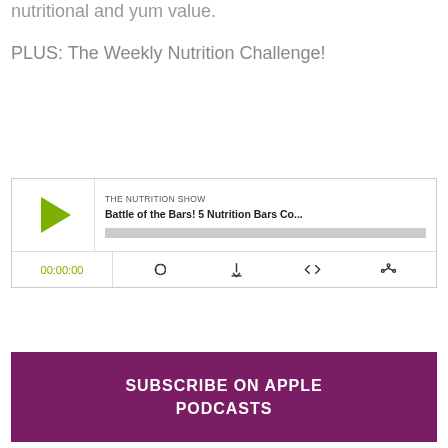nutritional and yum value.
PLUS: The Weekly Nutrition Challenge!
[Figure (screenshot): Podcast player widget for 'The Nutrition Show' episode titled 'Battle of the Bars! 5 Nutrition Bars Co...' with a green play button, timestamp 00:00:00, and playback controls including RSS, download, embed, and share icons.]
[Figure (other): Purple button with white bold text reading 'SUBSCRIBE ON APPLE PODCASTS']